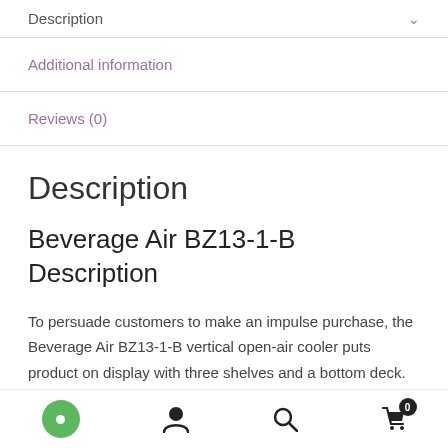Description
Additional information
Reviews (0)
Description
Beverage Air BZ13-1-B Description
To persuade customers to make an impulse purchase, the Beverage Air BZ13-1-B vertical open-air cooler puts product on display with three shelves and a bottom deck.